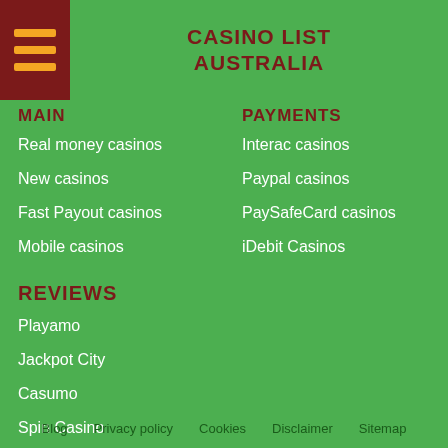CASINO LIST AUSTRALIA
MAIN
PAYMENTS
Real money casinos
New casinos
Fast Payout casinos
Mobile casinos
Interac casinos
Paypal casinos
PaySafeCard casinos
iDebit Casinos
REVIEWS
Playamo
Jackpot City
Casumo
Spin Casino
Blog  Privacy policy  Cookies  Disclaimer  Sitemap